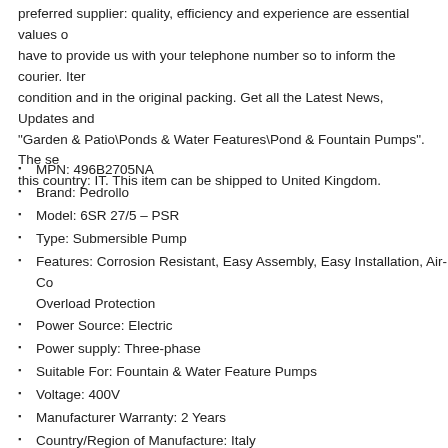preferred supplier: quality, efficiency and experience are essential values of have to provide us with your telephone number so to inform the courier. Item condition and in the original packing. Get all the Latest News, Updates and "Garden & Patio\Ponds & Water Features\Pond & Fountain Pumps". The se this country: IT. This item can be shipped to United Kingdom.
MPN: 496B2705NA
Brand: Pedrollo
Model: 6SR 27/5 – PSR
Type: Submersible Pump
Features: Corrosion Resistant, Easy Assembly, Easy Installation, Air-Co Overload Protection
Power Source: Electric
Power supply: Three-phase
Suitable For: Fountain & Water Feature Pumps
Voltage: 400V
Manufacturer Warranty: 2 Years
Country/Region of Manufacture: Italy
Power: 5500 W
Water Type: Clear Water, Fresh
Material: Stainless Steel
Assembly Required: Yes